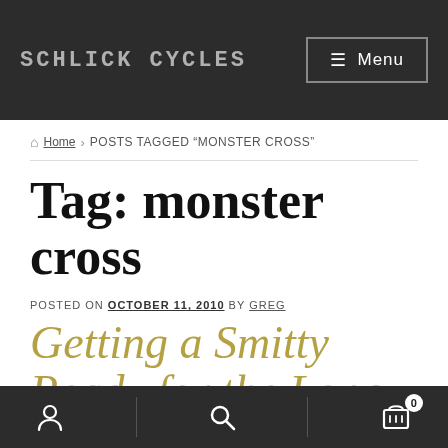SCHLICK CYCLES  Menu
Home › POSTS TAGGED "MONSTER CROSS"
Tag: monster cross
POSTED ON OCTOBER 11, 2010 by Greg
Getting a Smitty Ready for the Long
User  Search  Cart 0